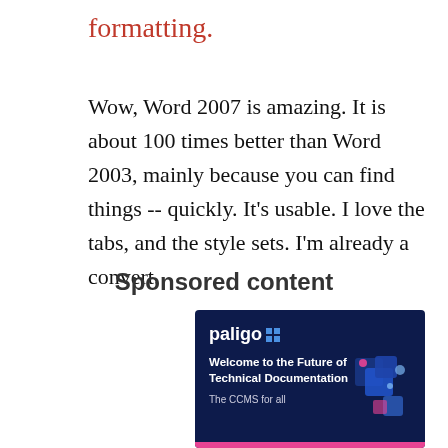formatting.
Wow, Word 2007 is amazing. It is about 100 times better than Word 2003, mainly because you can find things -- quickly. It's usable. I love the tabs, and the style sets. I'm already a convert.
Sponsored content
[Figure (infographic): Paligo advertisement banner with dark navy background. Shows 'paligo' logo with grid icon, headline 'Welcome to the Future of Technical Documentation', subtext 'The CCMS for all', and a 3D cube graphic on the right, with a pink bar at the bottom.]